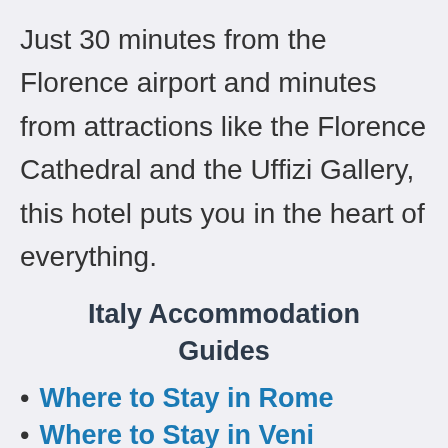Just 30 minutes from the Florence airport and minutes from attractions like the Florence Cathedral and the Uffizi Gallery, this hotel puts you in the heart of everything.
Italy Accommodation Guides
Where to Stay in Rome
Where to Stay in Venice